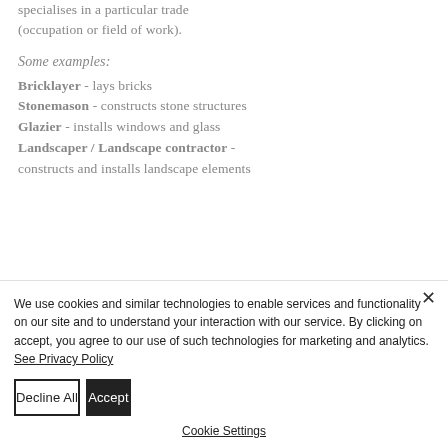specialises in a particular trade (occupation or field of work).
Some examples:
Bricklayer - lays bricks
Stonemason - constructs stone structures
Glazier - installs windows and glass
Landscaper / Landscape contractor - constructs and installs landscape elements
We use cookies and similar technologies to enable services and functionality on our site and to understand your interaction with our service. By clicking on accept, you agree to our use of such technologies for marketing and analytics. See Privacy Policy
Decline All
Accept
Cookie Settings